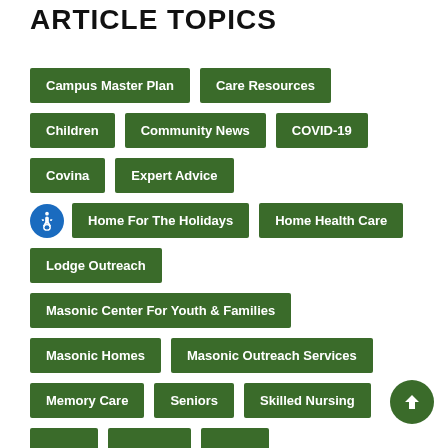ARTICLE TOPICS
Campus Master Plan
Care Resources
Children
Community News
COVID-19
Covina
Expert Advice
Home For The Holidays
Home Health Care
Lodge Outreach
Masonic Center For Youth & Families
Masonic Homes
Masonic Outreach Services
Memory Care
Seniors
Skilled Nursing